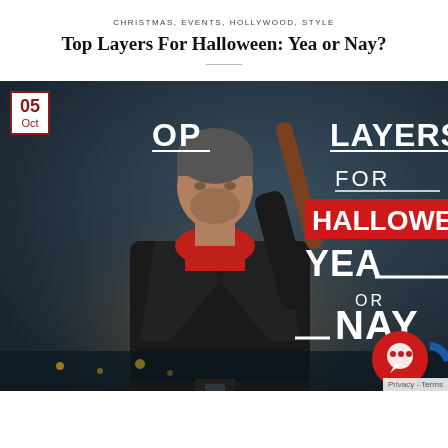CHRISTMAS, EVENTS, HOLLYWOOD, STYLE
Top Layers For Halloween: Yea or Nay?
[Figure (photo): Promotional image for 'Top Layers For Halloween: Yea or Nay?' featuring a man in a black leather jacket with a red scarf holding a baseball bat over his shoulder, styled like the character Negan from The Walking Dead. Text overlay reads: TOP LAYERS FOR HALLOWEEN YEA OR NAY. A date badge in the upper left shows '05 Oct'. Red circle chat widget in the bottom right corner.]
Privacy - Terms